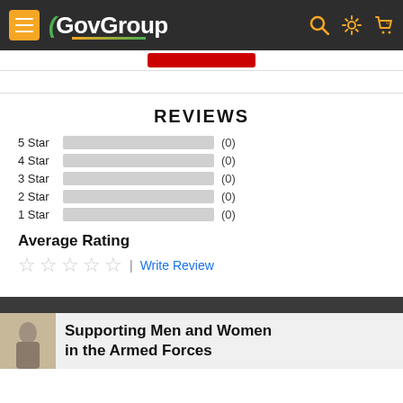GovGroup
REVIEWS
[Figure (bar-chart): Star Ratings]
Average Rating
| Write Review
Supporting Men and Women in the Armed Forces